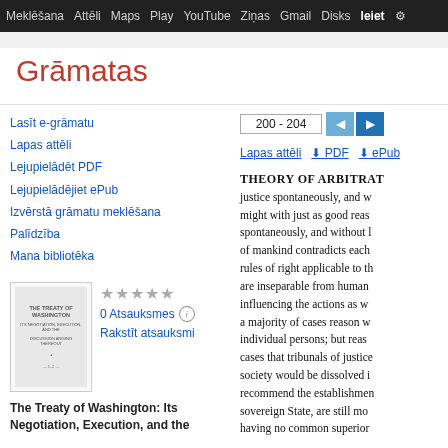Meklēšana  Attēli  Maps  Play  YouTube  Ziņas  Gmail  Disks  Ieiet  ⚙
Grāmatas
Lasīt e-grāmatu
Lapas attēli
Lejupielādēt PDF
Lejupielādējiet ePub
Izvērstā grāmatu meklēšana
Palīdzība
Mana bibliotēka
[Figure (illustration): Book cover thumbnail for The Treaty of Washington]
0 Atsauksmes  Rakstīt atsauksmi
The Treaty of Washington: Its Negotiation, Execution, and the
200 - 204
Lapas attēli  ⬇ PDF  ⬇ ePub
THEORY OF ARBITRAT justice spontaneously, and w might with just as good reas spontaneously, and without l of mankind contradicts each rules of right applicable to th are inseparable from human influencing the actions as w a majority of cases reason w individual persons; but reas cases that tribunals of justice society would be dissolved i recommend the establishmen sovereign State, are still mo having no common superior